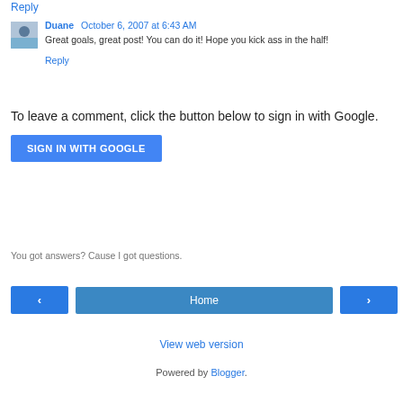Reply
Duane  October 6, 2007 at 6:43 AM
Great goals, great post! You can do it! Hope you kick ass in the half!
Reply
To leave a comment, click the button below to sign in with Google.
SIGN IN WITH GOOGLE
You got answers? Cause I got questions.
‹   Home   ›
View web version
Powered by Blogger.